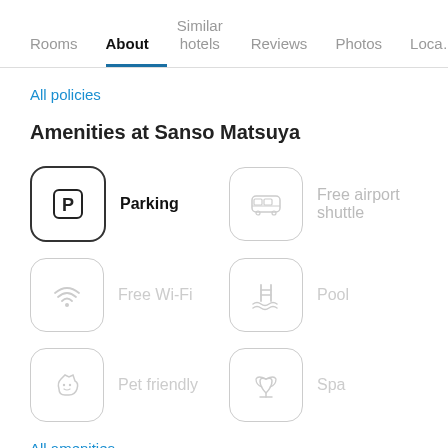Rooms | About | Similar hotels | Reviews | Photos | Location
All policies
Amenities at Sanso Matsuya
Parking
Free airport shuttle
Free Wi-Fi
Pool
Pet friendly
Spa
All amenities